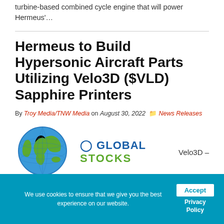turbine-based combined cycle engine that will power Hermeus'…
Hermeus to Build Hypersonic Aircraft Parts Utilizing Velo3D ($VLD) Sapphire Printers
By Troy Media/TNW Media on August 30, 2022  News Releases
[Figure (logo): Global Stocks logo with globe icon and text 'GLOBAL STOCKS', alongside text 'Velo3D –']
We use cookies to ensure that we give you the best experience on our website.  Accept  Privacy Policy